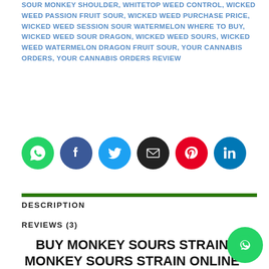SOUR MONKEY SHOULDER, WHITETOP WEED CONTROL, WICKED WEED PASSION FRUIT SOUR, WICKED WEED PURCHASE PRICE, WICKED WEED SESSION SOUR WATERMELON WHERE TO BUY, WICKED WEED SOUR DRAGON, WICKED WEED SOURS, WICKED WEED WATERMELON DRAGON FRUIT SOUR, YOUR CANNABIS ORDERS, YOUR CANNABIS ORDERS REVIEW
[Figure (other): Row of six social media share buttons as colored circles: WhatsApp (green), Facebook (blue), Twitter (light blue), Email (black), Pinterest (red), LinkedIn (blue)]
DESCRIPTION
REVIEWS (3)
BUY MONKEY SOURS STRAIN – MONKEY SOURS STRAIN ONLINE – SOURS STRAIN PRICE ONLINE – MONKEY SOURS STRAIN DEALS – BLACK MARKET SOURS STRAIN –